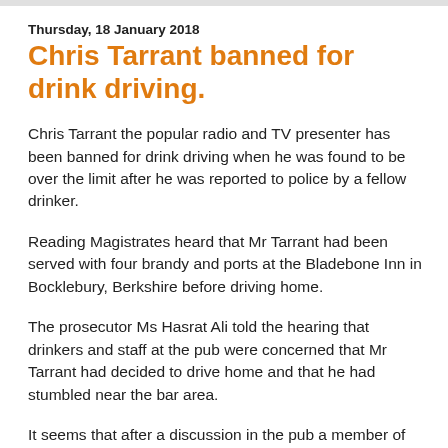Thursday, 18 January 2018
Chris Tarrant banned for drink driving.
Chris Tarrant the popular radio and TV presenter has been banned for drink driving when he was found to be over the limit after he was reported to police by a fellow drinker.
Reading Magistrates heard that Mr Tarrant had been served with four brandy and ports at the Bladebone Inn in Bocklebury, Berkshire before driving home.
The prosecutor Ms Hasrat Ali told the hearing that drinkers and staff at the pub were concerned that Mr Tarrant had decided to drive home and that he had stumbled near the bar area.
It seems that after a discussion in the pub a member of the public phoned the police who miraculously arrived at Mr Tarrants house in Osgoods Gully, Bucklebury some thirteen minutes later.